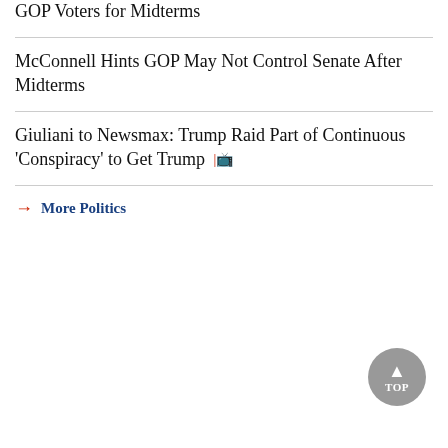GOP Voters for Midterms
McConnell Hints GOP May Not Control Senate After Midterms
Giuliani to Newsmax: Trump Raid Part of Continuous 'Conspiracy' to Get Trump
→ More Politics